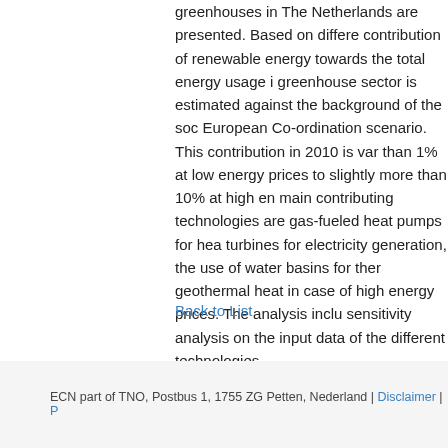greenhouses in The Netherlands are presented. Based on different contribution of renewable energy towards the total energy usage in greenhouse sector is estimated against the background of the so European Co-ordination scenario. This contribution in 2010 is var than 1% at low energy prices to slightly more than 10% at high en main contributing technologies are gas-fueled heat pumps for hea turbines for electricity generation, the use of water basins for ther geothermal heat in case of high energy prices. The analysis inclu sensitivity analysis on the input data of the different technologies.
Back to List
ECN part of TNO, Postbus 1, 1755 ZG Petten, Nederland | Disclaimer | P...